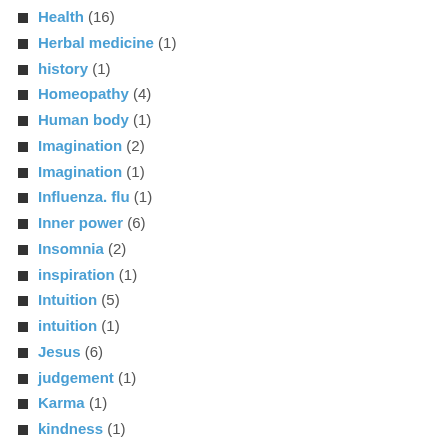Health (16)
Herbal medicine (1)
history (1)
Homeopathy (4)
Human body (1)
Imagination (2)
Imagination (1)
Influenza. flu (1)
Inner power (6)
Insomnia (2)
inspiration (1)
Intuition (5)
intuition (1)
Jesus (6)
judgement (1)
Karma (1)
kindness (1)
Law of Attraction (4)
Law of Attraction (2)
Left and right brains (1)
Listening (1)
Love (2)